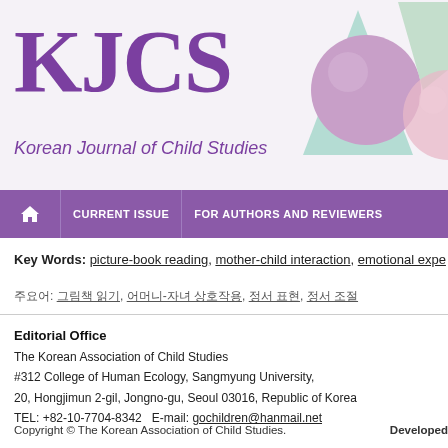[Figure (logo): KJCS Korean Journal of Child Studies header banner with decorative 3D shapes (purple sphere, teal pyramid, pink sphere) on light background]
CURRENT ISSUE | FOR AUTHORS AND REVIEWERS
Key Words: picture-book reading, mother-child interaction, emotional expe…
주요어: 그림책 읽기, 어머니-자녀 상호작용, 정서 표현, 정서 조절
Editorial Office
The Korean Association of Child Studies
#312 College of Human Ecology, Sangmyung University,
20, Hongjimun 2-gil, Jongno-gu, Seoul 03016, Republic of Korea
TEL: +82-10-7704-8342   E-mail: gochildren@hanmail.net
Copyright © The Korean Association of Child Studies.
Developed